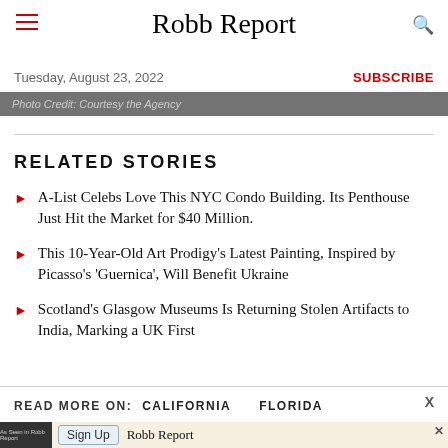Robb Report
Tuesday, August 23, 2022
SUBSCRIBE
Photo Credit: Courtesy the Agency
RELATED STORIES
A-List Celebs Love This NYC Condo Building. Its Penthouse Just Hit the Market for $40 Million.
This 10-Year-Old Art Prodigy's Latest Painting, Inspired by Picasso's 'Guernica', Will Benefit Ukraine
Scotland's Glasgow Museums Is Returning Stolen Artifacts to India, Marking a UK First
READ MORE ON:  CALIFORNIA   FLORIDA